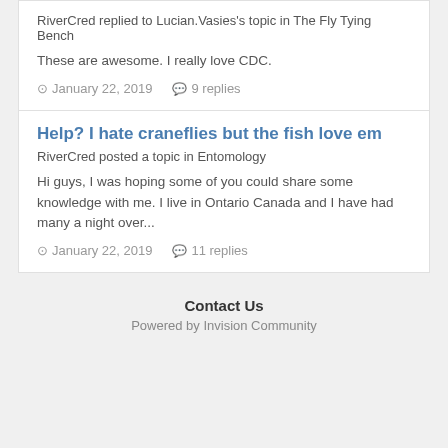RiverCred replied to Lucian.Vasies's topic in The Fly Tying Bench
These are awesome. I really love CDC.
January 22, 2019   9 replies
Help? I hate craneflies but the fish love em
RiverCred posted a topic in Entomology
Hi guys, I was hoping some of you could share some knowledge with me. I live in Ontario Canada and I have had many a night over...
January 22, 2019   11 replies
Contact Us
Powered by Invision Community